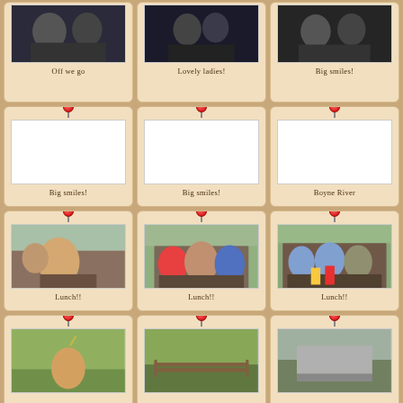[Figure (photo): Photo of children - Off we go]
Off we go
[Figure (photo): Photo of children - Lovely ladies!]
Lovely ladies!
[Figure (photo): Photo of children - Big smiles!]
Big smiles!
[Figure (photo): Blank photo card - Big smiles!]
Big smiles!
[Figure (photo): Blank photo card - Big smiles!]
Big smiles!
[Figure (photo): Blank photo card - Boyne River]
Boyne River
[Figure (photo): Photo of children eating lunch outdoors]
Lunch!!
[Figure (photo): Photo of children at picnic table - Lunch!!]
Lunch!!
[Figure (photo): Photo of children eating lunch outdoors]
Lunch!!
[Figure (photo): Photo of child in field]
[Figure (photo): Photo of field with fence]
[Figure (photo): Photo outdoors]